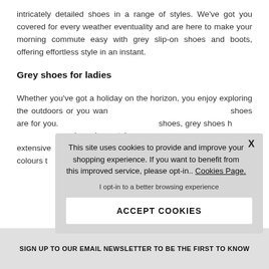intricately detailed shoes in a range of styles. We've got you covered for every weather eventuality and are here to make your morning commute easy with grey slip-on shoes and boots, offering effortless style in an instant.
Grey shoes for ladies
Whether you've got a holiday on the horizon, you enjoy exploring the outdoors or you wan... shoes are for you. shoes, grey shoes h... and can be matche... extensive range of ... rainbow of colours t...
[Figure (screenshot): Cookie consent popup overlay with text: 'This site uses cookies to provide and improve your shopping experience. If you want to benefit from this improved service, please opt-in.. Cookies Page.' with an opt-in link and an ACCEPT COOKIES button.]
SIGN UP TO OUR EMAIL NEWSLETTER TO BE THE FIRST TO KNOW